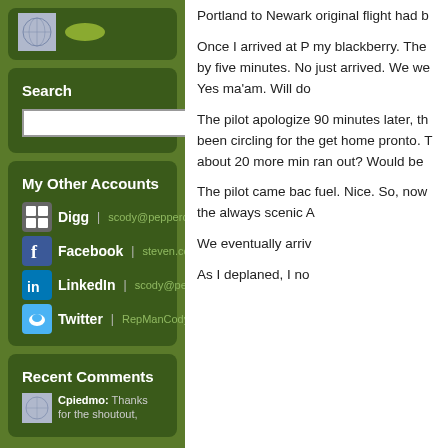[Figure (illustration): Globe/world map avatar icon with blue-grey background]
[Figure (illustration): Olive/green leaf or button shape]
Search
My Other Accounts
Digg | scody@peppercom.com
Facebook | steven.cody.58
LinkedIn | scody@peppercom.com
Twitter | RepManCody
Recent Comments
Cpiedmo: Thanks for the shoutout,
Portland to Newark original flight had b
Once I arrived at P my blackberry. The by five minutes. No just arrived. We we Yes ma'am. Will do
The pilot apologize 90 minutes later, th been circling for the get home pronto. T about 20 more min ran out? Would be
The pilot came bac fuel. Nice. So, now the always scenic A
We eventually arriv
As I deplaned, I no